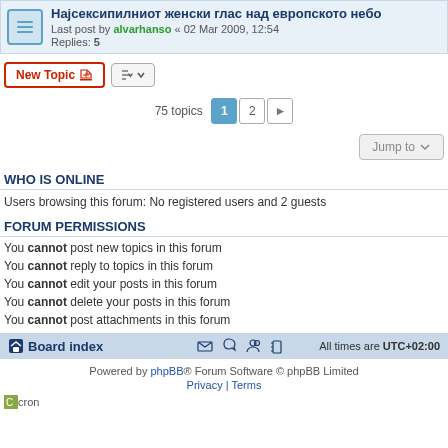Најсексипилниот женски глас над европското небо — Last post by alvarhanso « 02 Mar 2009, 12:54 — Replies: 5
75 topics — pages 1, 2
Jump to
WHO IS ONLINE
Users browsing this forum: No registered users and 2 guests
FORUM PERMISSIONS
You cannot post new topics in this forum
You cannot reply to topics in this forum
You cannot edit your posts in this forum
You cannot delete your posts in this forum
You cannot post attachments in this forum
Board index — All times are UTC+02:00
Powered by phpBB® Forum Software © phpBB Limited
Privacy | Terms